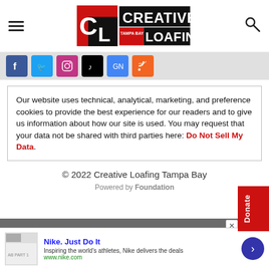Creative Loafing Tampa Bay - navigation header with logo, hamburger menu, and search icon
[Figure (logo): Creative Loafing Tampa Bay logo: red and black square logo with CL letters and red/white text]
[Figure (infographic): Social media icons row: Facebook, Twitter, Instagram, TikTok, Google News, RSS]
Our website uses technical, analytical, marketing, and preference cookies to provide the best experience for our readers and to give us information about how our site is used. You may request that your data not be shared with third parties here: Do Not Sell My Data.
© 2022 Creative Loafing Tampa Bay
Powered by Foundation
[Figure (screenshot): Advertisement banner: Nike. Just Do It - Inspiring the world's athletes, Nike delivers the deals. www.nike.com]